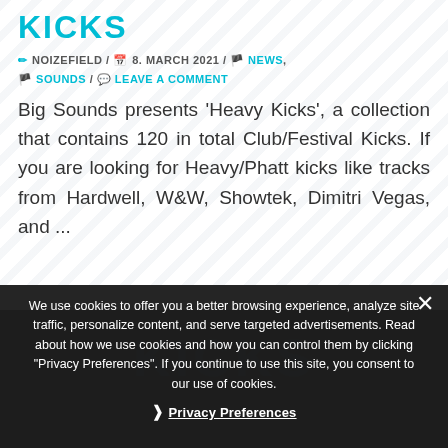KICKS
NOIZEFIELD / 8. MARCH 2021 / NEWS, SOUNDS / LEAVE A COMMENT
Big Sounds presents 'Heavy Kicks', a collection that contains 120 in total Club/Festival Kicks. If you are looking for Heavy/Phatt kicks like tracks from Hardwell, W&W, Showtek, Dimitri Vegas, and ...
We use cookies to offer you a better browsing experience, analyze site traffic, personalize content, and serve targeted advertisements. Read about how we use cookies and how you can control them by clicking "Privacy Preferences". If you continue to use this site, you consent to our use of cookies.
Privacy Preferences